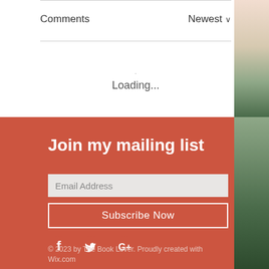Comments
Newest ∨
Loading...
Join my mailing list
Email Address
Subscribe Now
[Figure (illustration): Social media icons: Facebook, Twitter, Google+]
© 2023 by The Book Lover. Proudly created with Wix.com